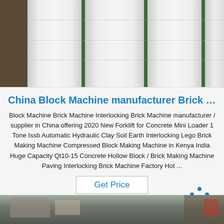[Figure (photo): Photo of white cylindrical rolls/coils with green stripes, stored in a warehouse]
China Block Machine manufacturer Brick …
Block Machine Brick Machine Interlocking Brick Machine manufacturer / supplier in China offering 2020 New Forklift for Concrete Mini Loader 1 Tone Issb Automatic Hydraulic Clay Soil Earth Interlocking Lego Brick Making Machine Compressed Block Making Machine in Kenya India Huge Capacity Qt10-15 Concrete Hollow Block / Brick Making Machine Paving Interlocking Brick Machine Factory Hot ...
Get Price
[Figure (logo): TOP logo with blue dots arranged in a triangle above the text TOP in blue]
[Figure (photo): Partial photo at bottom of page showing industrial/workshop scene]